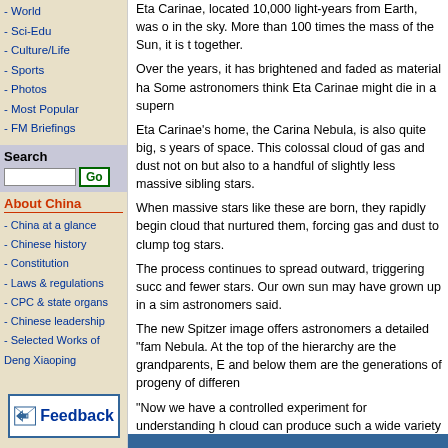- World
- Sci-Edu
- Culture/Life
- Sports
- Photos
- Most Popular
- FM Briefings
Search
About China
- China at a glance
- Chinese history
- Constitution
- Laws & regulations
- CPC & state organs
- Chinese leadership
- Selected Works of Deng Xiaoping
[Figure (illustration): Feedback button with envelope icon and blue border]
Eta Carinae, located 10,000 light-years from Earth, was o... in the sky. More than 100 times the mass of the Sun, it is t... together.
Over the years, it has brightened and faded as material ha... Some astronomers think Eta Carinae might die in a supern...
Eta Carinae's home, the Carina Nebula, is also quite big, s... years of space. This colossal cloud of gas and dust not on... but also to a handful of slightly less massive sibling stars.
When massive stars like these are born, they rapidly begin... cloud that nurtured them, forcing gas and dust to clump tog... stars.
The process continues to spread outward, triggering succ... and fewer stars. Our own sun may have grown up in a sim... astronomers said.
The new Spitzer image offers astronomers a detailed "fam... Nebula. At the top of the hierarchy are the grandparents, E... and below them are the generations of progeny of differen...
"Now we have a controlled experiment for understanding h... cloud can produce such a wide variety of stars, " said Geh...
The results were presented by Nathan Smith, lead investigo... at a meeting of the American Astronomical Society in Minn...
Source: Xinhua
Comment on the story   Tell a friend   Print fri...